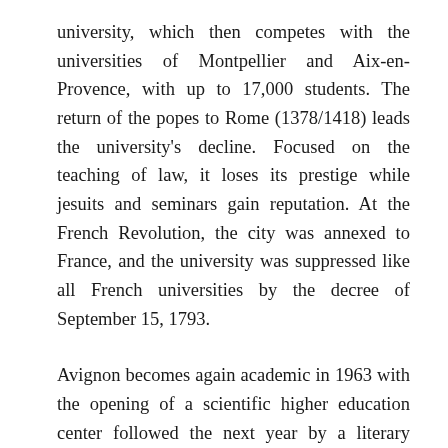university, which then competes with the universities of Montpellier and Aix-en-Provence, with up to 17,000 students. The return of the popes to Rome (1378/1418) leads the university's decline. Focused on the teaching of law, it loses its prestige while jesuits and seminars gain reputation. At the French Revolution, the city was annexed to France, and the university was suppressed like all French universities by the decree of September 15, 1793.
Avignon becomes again academic in 1963 with the opening of a scientific higher education center followed the next year by a literary Higher Education Center, both of them antennas of the faculties of Arts and Science of Aix-Marseille University. In 1972, the two units of teaching and research are merged into a university center.
On the day of July 17 in 1984, the university center becomes a full University under the name University of Avignon and Pays de Vaucluse. At that time, three teaching units (so-called